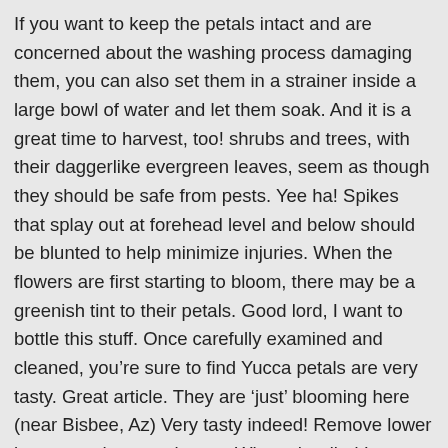If you want to keep the petals intact and are concerned about the washing process damaging them, you can also set them in a strainer inside a large bowl of water and let them soak. And it is a great time to harvest, too! shrubs and trees, with their daggerlike evergreen leaves, seem as though they should be safe from pests. Yee ha! Spikes that splay out at forehead level and below should be blunted to help minimize injuries. When the flowers are first starting to bloom, there may be a greenish tint to their petals. Good lord, I want to bottle this stuff. Once carefully examined and cleaned, you’re sure to find Yucca petals are very tasty. Great article. They are ‘just’ blooming here (near Bisbee, Az) Very tasty indeed! Remove lower leaves as they turn brown. When she died I saw some growing on the U. of Pgh campus and found a local nursery that sold it. I grew up in Italy eating zucchini flowers stuffed with Parmesan all summer long....so this sounded perfect. I am recently interested with this type of recipes and this sure can be on my list. In most cases, a single bloom will be enough to decorate each cupcake. Barbie: You pickle it. You can eat them raw or boil them and add them to soups and stews; however, I recommend